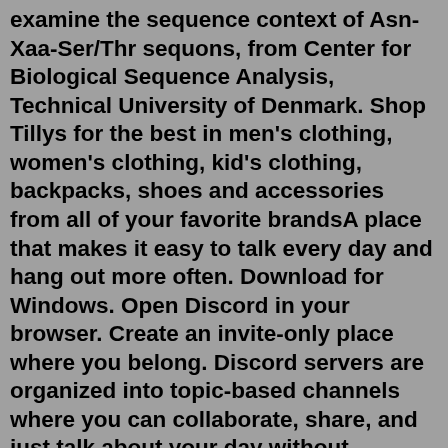examine the sequence context of Asn-Xaa-Ser/Thr sequons, from Center for Biological Sequence Analysis, Technical University of Denmark. Shop Tillys for the best in men's clothing, women's clothing, kid's clothing, backpacks, shoes and accessories from all of your favorite brandsA place that makes it easy to talk every day and hang out more often. Download for Windows. Open Discord in your browser. Create an invite-only place where you belong. Discord servers are organized into topic-based channels where you can collaborate, share, and just talk about your day without clogging up a group chat. Where hanging out is easy.Jul 19, 2022 · A new password will be emailed to you. Have received a new password? Login here Transform. Belong. Gaia offers the largest online resource of consciousness-expanding videos—over 8,000 informative and enlightening films, original shows, yoga and meditation classes, and more that you won't find anywhere else.Definitions, grammar tips, word game help and more from 16 authoritative sources. DK